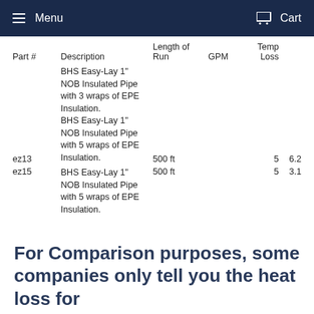Menu  Cart
| Part # | Description | Length of Run | GPM | Temp Loss |  |
| --- | --- | --- | --- | --- | --- |
| ez13 | BHS Easy-Lay 1" NOB Insulated Pipe with 3 wraps of EPE Insulation. BHS Easy-Lay 1" NOB Insulated Pipe with 5 wraps of EPE Insulation. | 500 ft |  | 5 | 6.2 |
| ez15 | BHS Easy-Lay 1" NOB Insulated Pipe with 5 wraps of EPE Insulation. | 500 ft |  | 5 | 3.1 |
For Comparison purposes, some companies only tell you the heat loss for